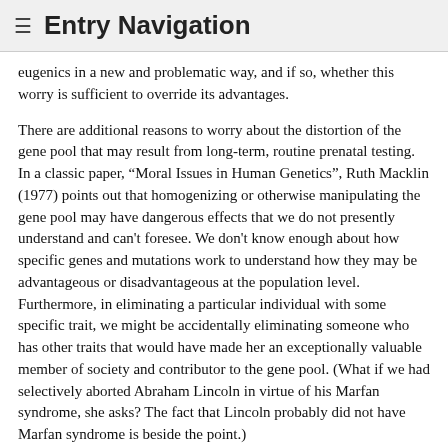≡ Entry Navigation
eugenics in a new and problematic way, and if so, whether this worry is sufficient to override its advantages.
There are additional reasons to worry about the distortion of the gene pool that may result from long-term, routine prenatal testing. In a classic paper, “Moral Issues in Human Genetics”, Ruth Macklin (1977) points out that homogenizing or otherwise manipulating the gene pool may have dangerous effects that we do not presently understand and can’t foresee. We don’t know enough about how specific genes and mutations work to understand how they may be advantageous or disadvantageous at the population level. Furthermore, in eliminating a particular individual with some specific trait, we might be accidentally eliminating someone who has other traits that would have made her an exceptionally valuable member of society and contributor to the gene pool. (What if we had selectively aborted Abraham Lincoln in virtue of his Marfan syndrome, she asks? The fact that Lincoln probably did not have Marfan syndrome is beside the point.)